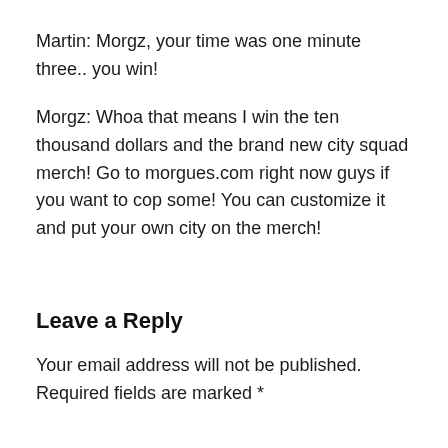Martin: Morgz, your time was one minute three.. you win!
Morgz: Whoa that means I win the ten thousand dollars and the brand new city squad merch! Go to morgues.com right now guys if you want to cop some! You can customize it and put your own city on the merch!
Leave a Reply
Your email address will not be published. Required fields are marked *